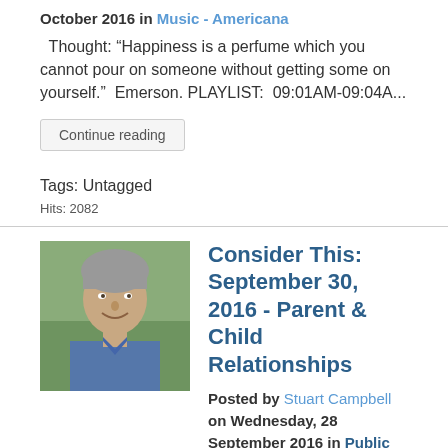October 2016 in Music - Americana
Thought: “Happiness is a perfume which you cannot pour on someone without getting some on yourself.”  Emerson. PLAYLIST:  09:01AM-09:04A...
Continue reading
Tags: Untagged
Hits: 2082
[Figure (photo): Headshot photo of Stuart Campbell, a middle-aged man with grey hair, smiling, wearing a blue shirt, outdoors with green foliage background]
Consider This: September 30, 2016 - Parent & Child Relationships
Posted by Stuart Campbell on Wednesday, 28 September 2016 in Public Affairs and Local News
MP3 Podcast link (http://considerthis.us/wp-